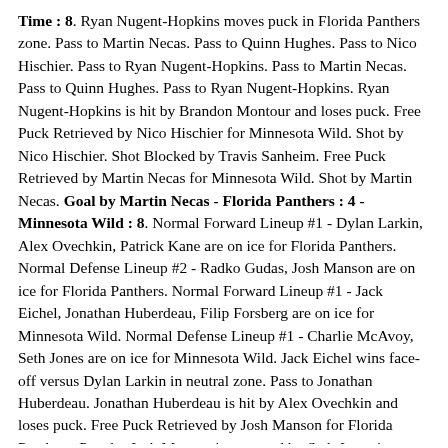Time : 8. Ryan Nugent-Hopkins moves puck in Florida Panthers zone. Pass to Martin Necas. Pass to Quinn Hughes. Pass to Nico Hischier. Pass to Ryan Nugent-Hopkins. Pass to Martin Necas. Pass to Quinn Hughes. Pass to Ryan Nugent-Hopkins. Ryan Nugent-Hopkins is hit by Brandon Montour and loses puck. Free Puck Retrieved by Nico Hischier for Minnesota Wild. Shot by Nico Hischier. Shot Blocked by Travis Sanheim. Free Puck Retrieved by Martin Necas for Minnesota Wild. Shot by Martin Necas. Goal by Martin Necas - Florida Panthers : 4 - Minnesota Wild : 8. Normal Forward Lineup #1 - Dylan Larkin, Alex Ovechkin, Patrick Kane are on ice for Florida Panthers. Normal Defense Lineup #2 - Radko Gudas, Josh Manson are on ice for Florida Panthers. Normal Forward Lineup #1 - Jack Eichel, Jonathan Huberdeau, Filip Forsberg are on ice for Minnesota Wild. Normal Defense Lineup #1 - Charlie McAvoy, Seth Jones are on ice for Minnesota Wild. Jack Eichel wins face-off versus Dylan Larkin in neutral zone. Pass to Jonathan Huberdeau. Jonathan Huberdeau is hit by Alex Ovechkin and loses puck. Free Puck Retrieved by Josh Manson for Florida Panthers. Pass by Josh Manson intercepted by Seth Jones in Minnesota Wild zone. Icing by Seth Jones. Jack Eichel is ejected from face-off, Jonathan Huberdeau takes his place. Dylan Larkin wins face-off versus Jonathan Huberdeau in Minnesota Wild zone. Pass to Radko Gudas. Pass to Patrick Kane. Pass to Josh Manson. Pass by Josh